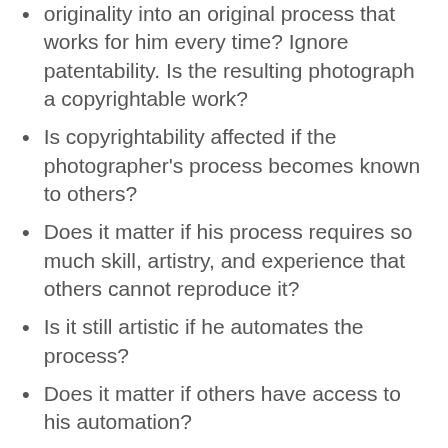originality into an original process that works for him every time? Ignore patentability. Is the resulting photograph a copyrightable work?
Is copyrightability affected if the photographer's process becomes known to others?
Does it matter if his process requires so much skill, artistry, and experience that others cannot reproduce it?
Is it still artistic if he automates the process?
Does it matter if others have access to his automation?
What if advances in technology make it easy for anyone to achieve the result by merely pushing a button?
I've read that digitizing microfilm is—or was—part art and part science. I've read that FamilySearch developed technology to automatically detect film densities and adjust lamp temperature and such so that digitizing is no longer part art. When it was part art, was the result copyrightable? Now that it is no longer partly artistic, is the result not